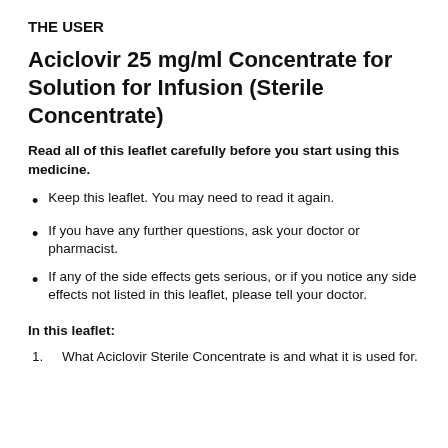THE USER
Aciclovir 25 mg/ml Concentrate for Solution for Infusion (Sterile Concentrate)
Read all of this leaflet carefully before you start using this medicine.
Keep this leaflet. You may need to read it again.
If you have any further questions, ask your doctor or pharmacist.
If any of the side effects gets serious, or if you notice any side effects not listed in this leaflet, please tell your doctor.
In this leaflet:
What Aciclovir Sterile Concentrate is and what it is used for.